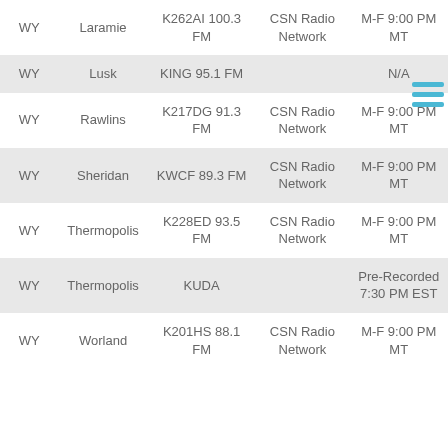| State | City | Station | Network | Schedule |
| --- | --- | --- | --- | --- |
| WY | Laramie | K262AI 100.3 FM | CSN Radio Network | M-F 9:00 PM MT |
| WY | Lusk | KING 95.1 FM |  | N/A |
| WY | Rawlins | K217DG 91.3 FM | CSN Radio Network | M-F 9:00 PM MT |
| WY | Sheridan | KWCF 89.3 FM | CSN Radio Network | M-F 9:00 PM MT |
| WY | Thermopolis | K228ED 93.5 FM | CSN Radio Network | M-F 9:00 PM MT |
| WY | Thermopolis | KUDA |  | Pre-Recorded 7:30 PM EST |
| WY | Worland | K201HS 88.1 FM | CSN Radio Network | M-F 9:00 PM MT |